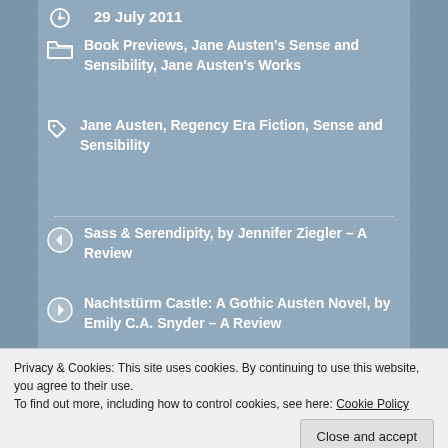29 July 2011
Book Previews, Jane Austen's Sense and Sensibility, Jane Austen's Works
Jane Austen, Regency Era Fiction, Sense and Sensibility
Sass & Serendipity, by Jennifer Ziegler – A Review
Nachtstürm Castle: A Gothic Austen Novel, by Emily C.A. Snyder – A Review
14 thoughts on “A Preview of
Privacy & Cookies: This site uses cookies. By continuing to use this website, you agree to their use.
To find out more, including how to control cookies, see here: Cookie Policy
Close and accept